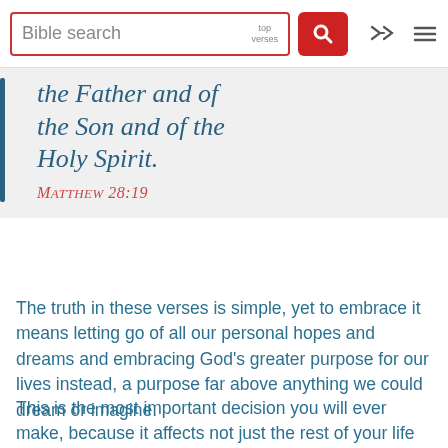Bible search | top verses
the Father and of the Son and of the Holy Spirit.
Matthew 28:19
The truth in these verses is simple, yet to embrace it means letting go of all our personal hopes and dreams and embracing God's greater purpose for our lives instead, a purpose far above anything we could dream or imagine.
This is the most important decision you will ever make, because it affects not just the rest of your life here on earth, but what comes after as well. Don't put it off until too late. If you died tonight make the decision to spend eternity with your loving Father in Heaven.